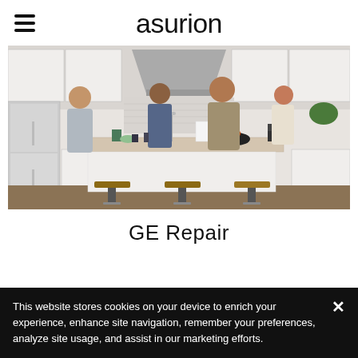asurion
[Figure (photo): A family of four in a modern white kitchen with a large island, stools, and various kitchen items on the counter.]
GE Repair
This website stores cookies on your device to enrich your experience, enhance site navigation, remember your preferences, analyze site usage, and assist in our marketing efforts.